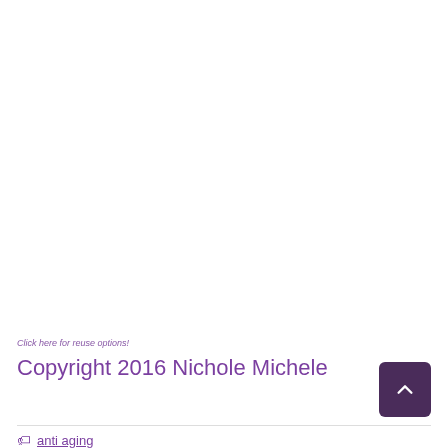Click here for reuse options!
Copyright 2016 Nichole Michele
anti aging